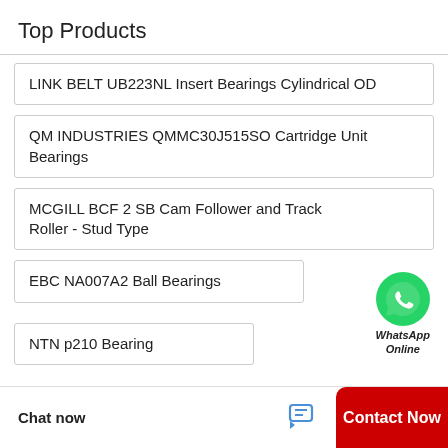Top Products
LINK BELT UB223NL Insert Bearings Cylindrical OD
QM INDUSTRIES QMMC30J515SO Cartridge Unit Bearings
MCGILL BCF 2 SB Cam Follower and Track Roller - Stud Type
EBC NA007A2 Ball Bearings
NTN p210 Bearing
[Figure (logo): WhatsApp green circle logo with phone icon and text 'WhatsApp Online']
Chat now
Contact Now